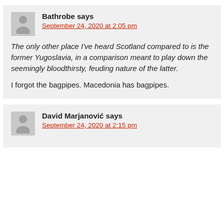Bathrobe says
September 24, 2020 at 2:05 pm
The only other place I've heard Scotland compared to is the former Yugoslavia, in a comparison meant to play down the seemingly bloodthirsty, feuding nature of the latter.
I forgot the bagpipes. Macedonia has bagpipes.
David Marjanović says
September 24, 2020 at 2:15 pm